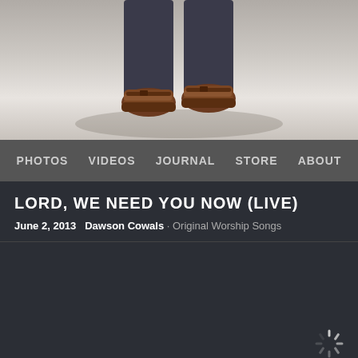[Figure (photo): Top portion of a person's legs and feet wearing brown leather shoes/sandals against a white background with shadow]
PHOTOS   VIDEOS   JOURNAL   STORE   ABOUT
LORD, WE NEED YOU NOW (LIVE)
June 2, 2013   Dawson Cowals · Original Worship Songs
[Figure (screenshot): Dark media player area with loading spinner in bottom right corner]